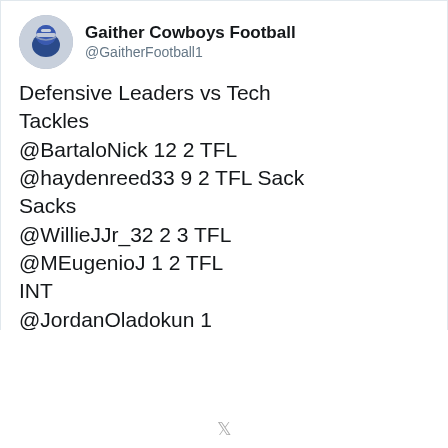[Figure (screenshot): Circular avatar/profile photo of Gaither Cowboys Football Twitter account, showing a football player helmet logo in blue and silver]
Gaither Cowboys Football
@GaitherFootball1
Defensive Leaders vs Tech
Tackles
@BartaloNick 12 2 TFL
@haydenreed33 9 2 TFL Sack
Sacks
@WillieJJr_32 2 3 TFL
@MEugenioJ 1 2 TFL
INT
@JordanOladokun 1
@jordanyoung_1 1
12:50 PM · Sep 18, 2020